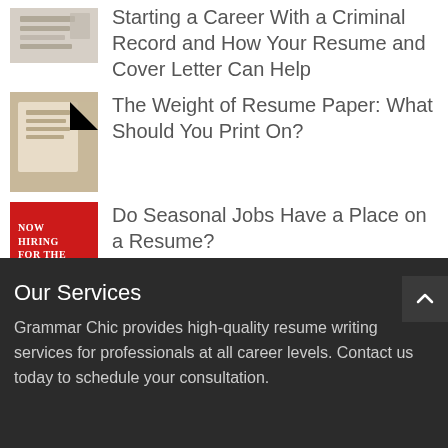Starting a Career With a Criminal Record and How Your Resume and Cover Letter Can Help
The Weight of Resume Paper: What Should You Print On?
Do Seasonal Jobs Have a Place on a Resume?
Our Services
Grammar Chic provides high-quality resume writing services for professionals at all career levels. Contact us today to schedule your consultation.